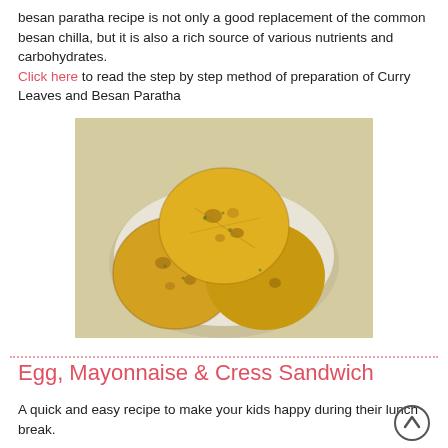besan paratha recipe is not only a good replacement of the common besan chilla, but it is also a rich source of various nutrients and carbohydrates. Click here to read the step by step method of preparation of Curry Leaves and Besan Paratha
[Figure (photo): A plate of golden-yellow besan (chickpea flour) parathas arranged in a stack on a white plate, viewed from above on a light-colored surface.]
Egg, Mayonnaise & Cress Sandwich
A quick and easy recipe to make your kids happy during their lunch break.